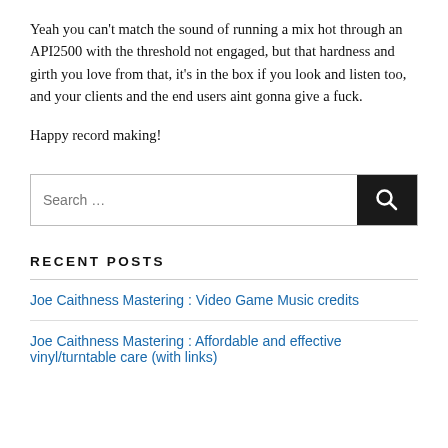Yeah you can't match the sound of running a mix hot through an API2500 with the threshold not engaged, but that hardness and girth you love from that, it's in the box if you look and listen too, and your clients and the end users aint gonna give a fuck.
Happy record making!
Search …
RECENT POSTS
Joe Caithness Mastering : Video Game Music credits
Joe Caithness Mastering : Affordable and effective vinyl/turntable care (with links)